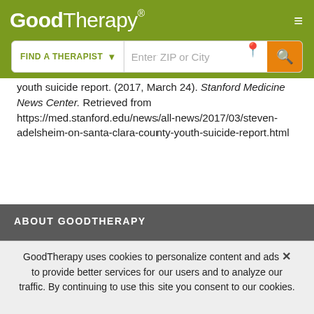GoodTherapy®
youth suicide report. (2017, March 24). Stanford Medicine News Center. Retrieved from https://med.stanford.edu/news/all-news/2017/03/steven-adelsheim-on-santa-clara-county-youth-suicide-report.html
ABOUT GOODTHERAPY
GoodTherapy uses cookies to personalize content and ads to provide better services for our users and to analyze our traffic. By continuing to use this site you consent to our cookies.